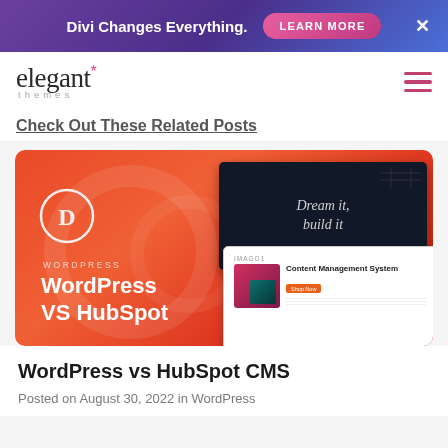Divi Changes Everything. LEARN MORE ×
[Figure (logo): Elegant Themes logo with asterisk star in pink, hamburger menu icon on right]
Check Out These Related Posts
[Figure (screenshot): WordPress VS HubSpot blog post card with red/orange gradient background, Divi circle logo, dark screenshot showing 'Dream it, build it', and white screenshot showing Content Management System page]
WordPress vs HubSpot CMS
Posted on August 30, 2022 in WordPress